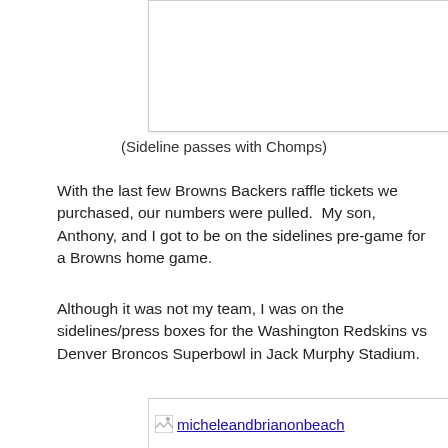[Figure (photo): White empty image box (photo placeholder)]
(Sideline passes with Chomps)
With the last few Browns Backers raffle tickets we purchased, our numbers were pulled.  My son, Anthony, and I got to be on the sidelines pre-game for a Browns home game.
Although it was not my team, I was on the sidelines/press boxes for the Washington Redskins vs Denver Broncos Superbowl in Jack Murphy Stadium.
[Figure (photo): Image link labeled micheleandbrianonbeach]